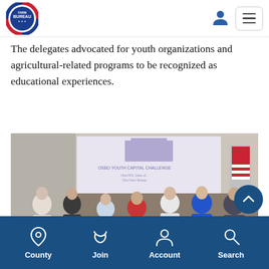Farm Bureau
The delegates advocated for youth organizations and agricultural-related programs to be recognized as educational experiences.
[Figure (photo): Group of seven people standing in a conference room holding a large ceremonial check made out to 'Team 3' for 'One Hundred' dollars from Ohio Farm Bureau. A projection screen behind them shows 'OSBO Youth Capital Challenge' and Ohio FFA information. An American flag is visible on the right.]
County  Join  Account  Search